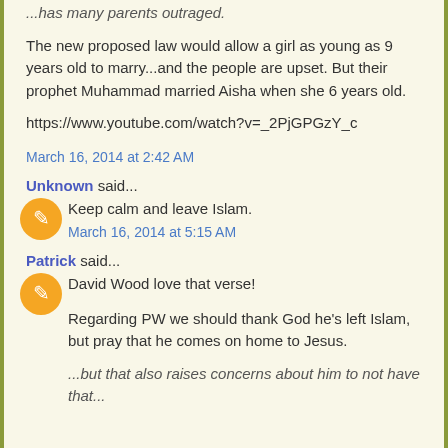...has many parents outraged.
The new proposed law would allow a girl as young as 9 years old to marry...and the people are upset. But their prophet Muhammad married Aisha when she 6 years old.
https://www.youtube.com/watch?v=_2PjGPGzY_c
March 16, 2014 at 2:42 AM
Unknown said...
Keep calm and leave Islam.
March 16, 2014 at 5:15 AM
Patrick said...
David Wood love that verse!
Regarding PW we should thank God he's left Islam, but pray that he comes on home to Jesus.
...but that also raises concerns about him to not have that...